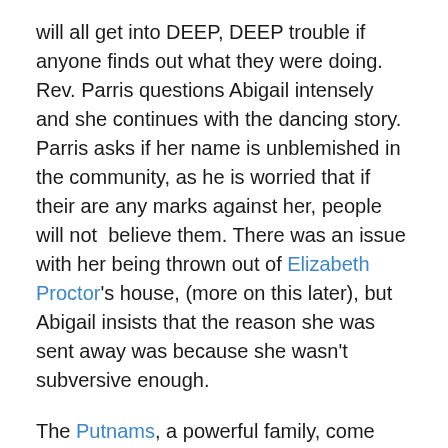will all get into DEEP, DEEP trouble if anyone finds out what they were doing. Rev. Parris questions Abigail intensely and she continues with the dancing story. Parris asks if her name is unblemished in the community, as he is worried that if their are any marks against her, people will not  believe them. There was an issue with her being thrown out of Elizabeth Proctor's house, (more on this later), but Abigail insists that the reason she was sent away was because she wasn't subversive enough.
The Putnams, a powerful family, come over and say that their daughter Ruth won't wake up either. Goody Putnam has lost all her babies, Ruth having been the only exception, and believes that it must be witchcraft that killed them. They also say they have heard that the girls are bewitched. Rev. Parris is worried at what to do and sends for Rev. Hale, a specialist to figure out...